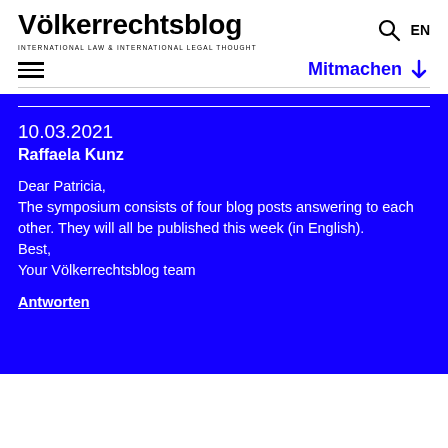Völkerrechtsblog — INTERNATIONAL LAW & INTERNATIONAL LEGAL THOUGHT
10.03.2021
Raffaela Kunz
Dear Patricia, The symposium consists of four blog posts answering to each other. They will all be published this week (in English). Best, Your Völkerrechtsblog team
Antworten